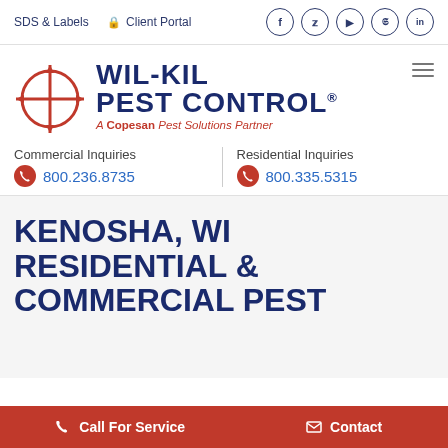SDS & Labels | Client Portal | Social icons: Facebook, Twitter, YouTube, Pinterest, LinkedIn
[Figure (logo): Wil-Kil Pest Control logo with red crosshair target symbol and text: WIL-KIL PEST CONTROL® A Copesan Pest Solutions Partner]
Commercial Inquiries
800.236.8735
Residential Inquiries
800.335.5315
KENOSHA, WI RESIDENTIAL & COMMERCIAL PEST
Call For Service
Contact